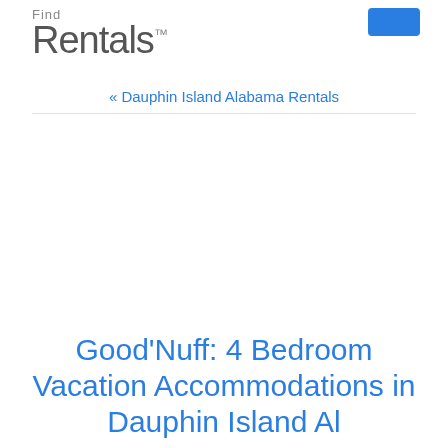Find Rentals.
« Dauphin Island Alabama Rentals
Good'Nuff: 4 Bedroom Vacation Accommodations in Dauphin Island Al...